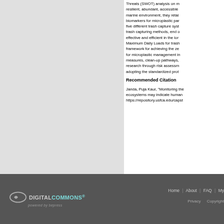Threats (SWOT) analysis on m resilient, abundant, accessible marine environment, they retai biomarkers for microplastic pa five different trash capture syst trash capturing methods, end o effective and efficient in the lor Maximum Daily Loads for trash framework for achieving the ze for microplastic management i measures, clean-up pathways, research through risk assessm adopting the standardized prot
Recommended Citation
Janda, Puja Kaur, "Monitoring the ecosystems may indicate human https://repository.usfca.edu/capst
Home | About | FAQ | My Privacy  Copyright